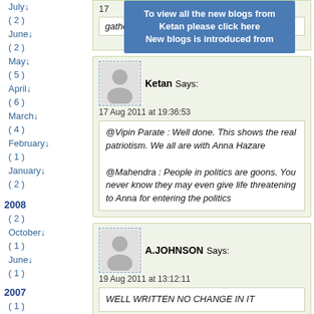July ( 2 )
June ( 2 )
May ( 5 )
April ( 6 )
March ( 4 )
February ( 1 )
January ( 2 )
2008
( 2 )
October ( 1 )
June ( 1 )
2007
( 1 )
To view all the new blogs from Ketan please click here
New blogs is introduced from
17
gather 500 million people to win the elections.
Ketan Says:
17 Aug 2011 at 19:36:53
@Vipin Parate : Well done. This shows the real patriotism. We all are with Anna Hazare
@Mahendra : People in politics are goons. You never know they may even give life threatening to Anna for entering the politics
A.JOHNSON Says:
19 Aug 2011 at 13:12:11
WELL WRITTEN NO CHANGE IN IT